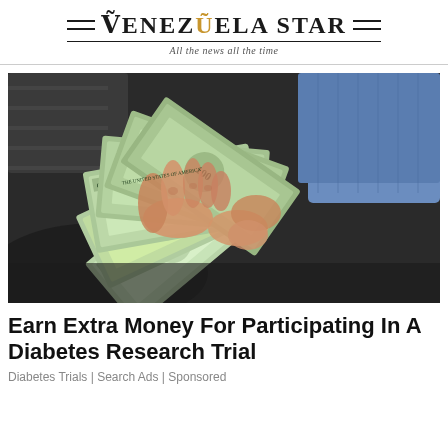Venezuela Star — All the news all the time
[Figure (photo): Hands fanning out multiple US $100 dollar bills over a dark surface, with jeans visible in the background]
Earn Extra Money For Participating In A Diabetes Research Trial
Diabetes Trials | Search Ads | Sponsored